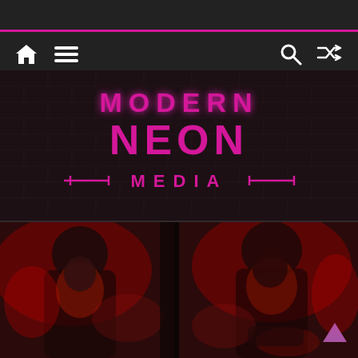[Figure (screenshot): Website header navigation bar with dark background, pink horizontal line, home icon, hamburger menu icon on left, search icon and shuffle icon on right]
[Figure (logo): Modern Neon Media logo with pink neon-style lettering on dark brick wall background]
[Figure (photo): Two side-by-side dark red-tinted photos of a woman posing in dramatic lighting]